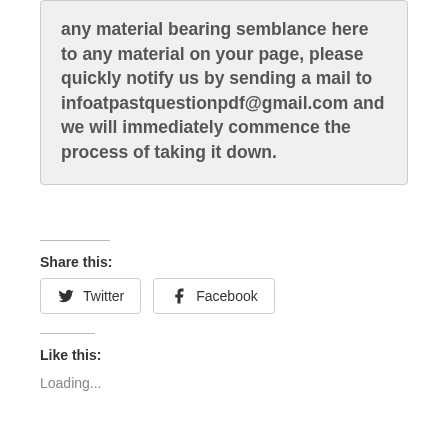any material bearing semblance here to any material on your page, please quickly notify us by sending a mail to infoatpastquestionpdf@gmail.com and we will immediately commence the process of taking it down.
Share this:
Twitter
Facebook
Like this:
Loading...